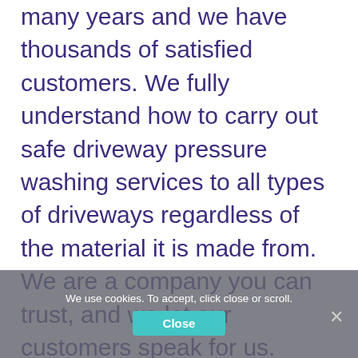many years and we have thousands of satisfied customers. We fully understand how to carry out safe driveway pressure washing services to all types of driveways regardless of the material it is made from. We are a company you can trust, and we let our customers speak for us.

Beautiful sandstone and granite used on driveways look best when kept clean and pristine. Pressure washing will not only make your driveway look good it will become less slippery when all the mosses and lichens have been
We use cookies. To accept, click close or scroll.
Close